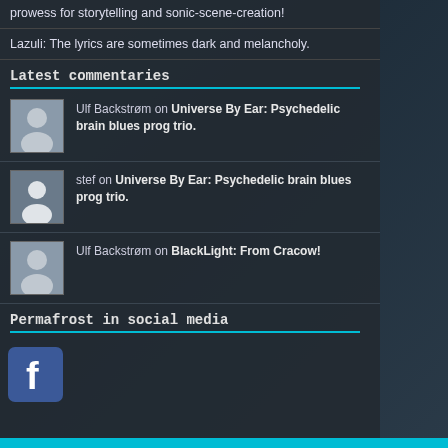prowess for storytelling and sonic-scene-creation!
Lazuli: The lyrics are sometimes dark and melancholy.
Latest commentaries
Ulf Backstrøm on Universe By Ear: Psychedelic brain blues prog trio.
stef on Universe By Ear: Psychedelic brain blues prog trio.
Ulf Backstrøm on BlackLight: From Cracow!
Permafrost in social media
[Figure (logo): Facebook icon/logo button]